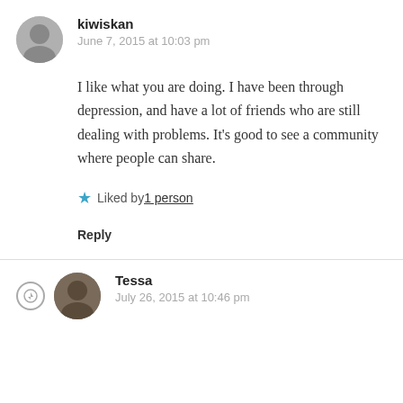kiwiskan
June 7, 2015 at 10:03 pm
I like what you are doing. I have been through depression, and have a lot of friends who are still dealing with problems. It’s good to see a community where people can share.
Liked by 1 person
Reply
Tessa
July 26, 2015 at 10:46 pm